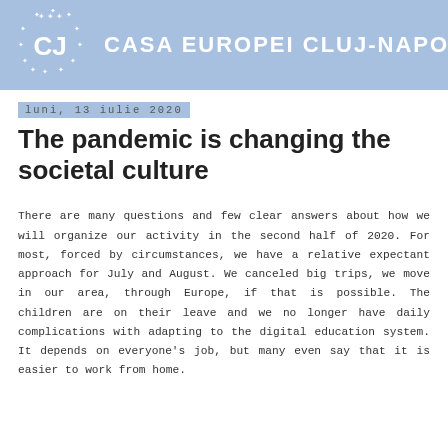[Figure (logo): Casa Europei Cluj-Napoca header banner with blue background, EU stars logo with CJ letters, and title text CASA EUROPEI CLUJ-NAPOCA]
luni, 13 iulie 2020
The pandemic is changing the societal culture
There are many questions and few clear answers about how we will organize our activity in the second half of 2020. For most, forced by circumstances, we have a relative expectant approach for July and August. We canceled big trips, we move in our area, through Europe, if that is possible. The children are on their leave and we no longer have daily complications with adapting to the digital education system. It depends on everyone's job, but many even say that it is easier to work from home.